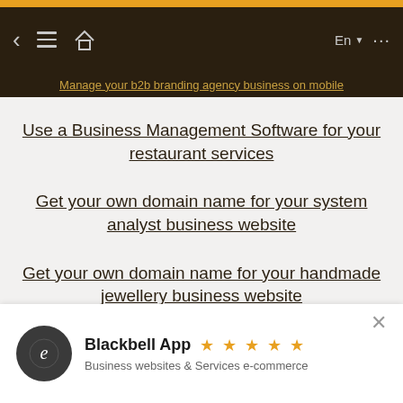Services online
Manage your b2b branding agency business on mobile
Use a Business Management Software for your restaurant services
Get your own domain name for your system analyst business website
Get your own domain name for your handmade jewellery business website
Blackbell App ★★★★★ Business websites & Services e-commerce